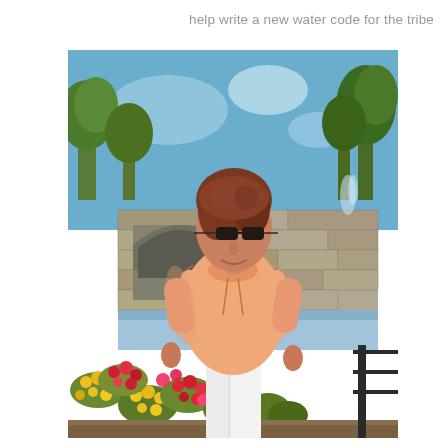help write a new water code for the tribe
[Figure (photo): An older woman with short brown hair and sunglasses, wearing a peach/salmon colored top and white pants, standing in front of a stone wall with an arched niche, flowers in bloom (red, pink, yellow) in the foreground, and trees with a blue sky in the background.]